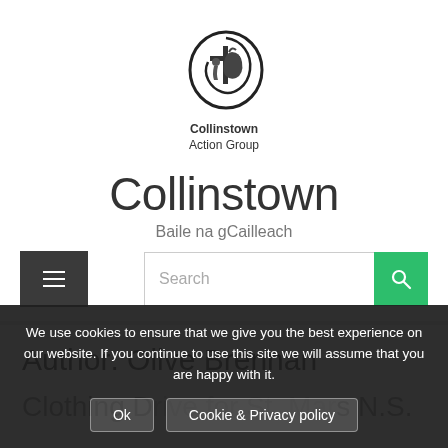[Figure (logo): Collinstown Action Group logo — a stylized circular emblem with a cross and figure motif, black on white, with text 'Collinstown Action Group' below]
Collinstown
Baile na gCailleach
[Figure (screenshot): Navigation bar with hamburger menu button on left and search field with green search button on right]
Author: Olive Brennan
We use cookies to ensure that we give you the best experience on our website. If you continue to use this site we will assume that you are happy with it.
Clothing D... for St. M...s N.S.